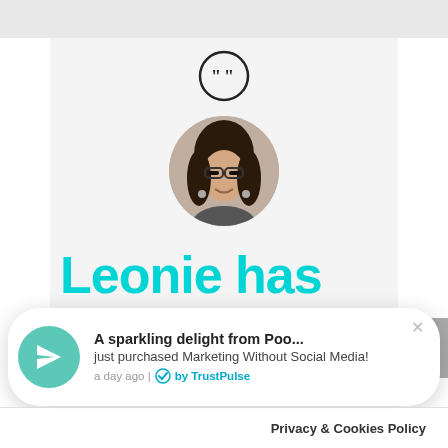[Figure (screenshot): Screenshot of a webpage with a testimonial section. Shows a quote icon circle at top, a circular profile photo of a woman with glasses and dark curly hair, large cyan/teal text reading 'Leonie has put the FUN', a TrustPulse notification popup at bottom showing 'A sparkling delight from Poo... just purchased Marketing Without Social Media!', a scroll-up button on the right, and a Privacy & Cookies Policy bar at the very bottom. A gray bar appears at the top.]